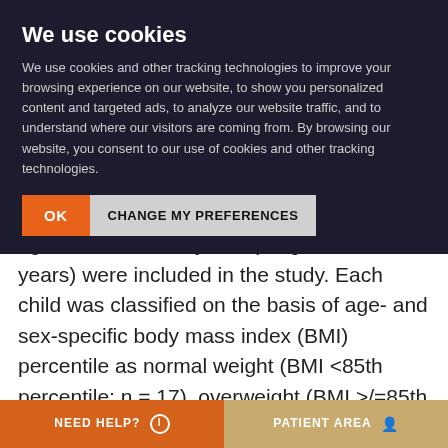We use cookies
We use cookies and other tracking technologies to improve your browsing experience on our website, to show you personalized content and targeted ads, to analyze our website traffic, and to understand where our visitors are coming from. By browsing our website, you consent to our use of cookies and other tracking technologies.
OK   CHANGE MY PREFERENCES
STUDY DESIGN
...nd adolescents (65% girls) with an average age of 12.1 +/- 2.7 years (range, 6 to 18 years) were included in the study. Each child was classified on the basis of age- and sex-specific body mass index (BMI) percentile as normal weight (BMI <85th percentile; n = 17), overweight (BMI >/=85th and <95th percentiles; n = 26), or obese (BMI >/=95th percentile; n = 20). Body fat was estimated by air-displacement
NEED HELP?   PATIENT AREA